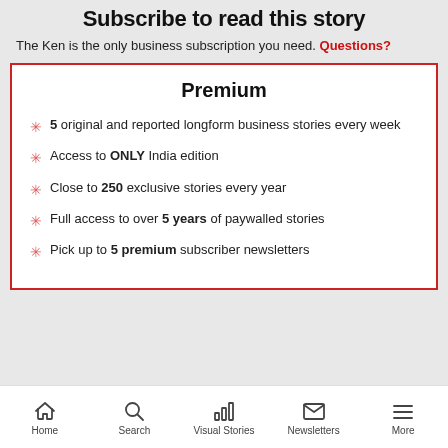Subscribe to read this story
The Ken is the only business subscription you need. Questions?
Premium
5 original and reported longform business stories every week
Access to ONLY India edition
Close to 250 exclusive stories every year
Full access to over 5 years of paywalled stories
Pick up to 5 premium subscriber newsletters
Home  Search  Visual Stories  Newsletters  More